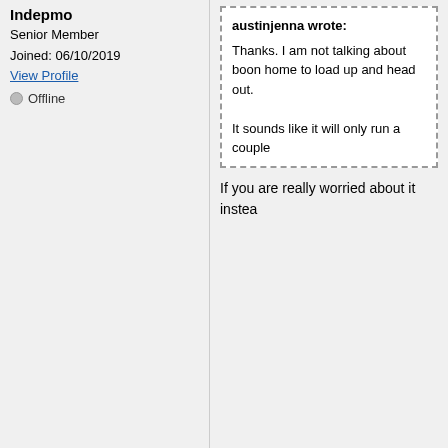Indepmo
Senior Member
Joined: 06/10/2019
View Profile
Offline
austinjenna wrote:
Thanks. I am not talking about boon home to load up and head out.
It sounds like it will only run a couple
If you are really worried about it instea
Reply to Topic | Subscribe | Print Topic | Post New Topic | Oldest
Open Roads Forum > General RVing Issues
> Residential Fridge battery run time
Search: [input] Go  Advanced Search
Search only in General RVing Issues